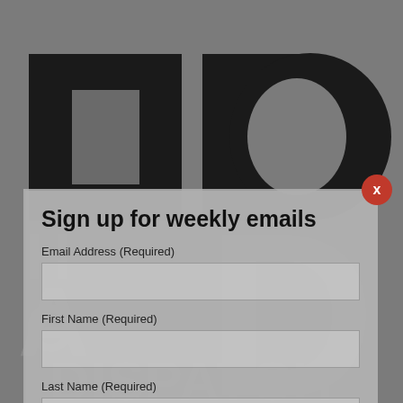[Figure (logo): Idaho Dispatch logo with large block letters ID and text DISPATCH in background, displayed on gray overlay background]
Sign up for weekly emails
Email Address (Required)
First Name (Required)
Last Name (Required)